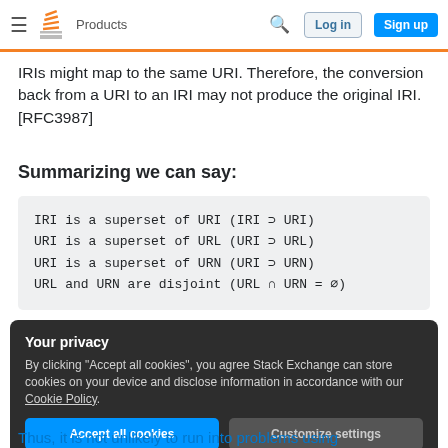≡ [Stack Overflow logo] Products 🔍 Log in Sign up
IRIs might map to the same URI. Therefore, the conversion back from a URI to an IRI may not produce the original IRI. [RFC3987]
Summarizing we can say:
IRI is a superset of URI (IRI ⊃ URI)
URI is a superset of URL (URI ⊃ URL)
URI is a superset of URN (URI ⊃ URN)
URL and URN are disjoint (URL ∩ URN = ∅)
Your privacy
By clicking "Accept all cookies", you agree Stack Exchange can store cookies on your device and disclose information in accordance with our Cookie Policy.
Accept all cookies   Customize settings
Thus, it is not unlikely to run into problems using ASCII characters. Therefore, the most avoid